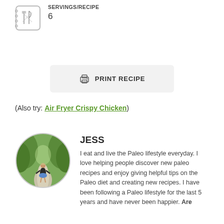[Figure (other): Recipe notebook icon with crossed fork and knife]
SERVINGS/RECIPE
6
[Figure (other): Print recipe button with printer icon]
(Also try: Air Fryer Crispy Chicken)
[Figure (photo): Circular profile photo of Jess standing on a tree-lined path]
JESS
I eat and live the Paleo lifestyle everyday. I love helping people discover new paleo recipes and enjoy giving helpful tips on the Paleo diet and creating new recipes. I have been following a Paleo lifestyle for the last 5 years and have never been happier. Are